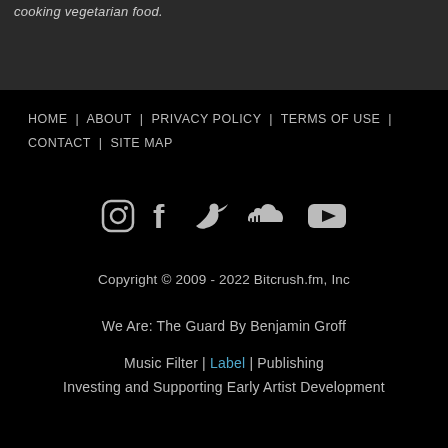cooking vegetarian food.
HOME | ABOUT | PRIVACY POLICY | TERMS OF USE | CONTACT | SITE MAP
[Figure (other): Social media icons: Instagram, Facebook, Twitter, SoundCloud, YouTube]
Copyright © 2009 - 2022 Bitcrush.fm, Inc
We Are: The Guard By Benjamin Groff
Music Filter | Label | Publishing Investing and Supporting Early Artist Development